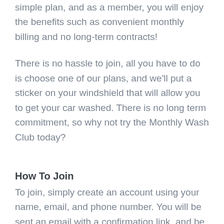simple plan, and as a member, you will enjoy the benefits such as convenient monthly billing and no long-term contracts!
There is no hassle to join, all you have to do is choose one of our plans, and we'll put a sticker on your windshield that will allow you to get your car washed. There is no long term commitment, so why not try the Monthly Wash Club today?
How To Join
To join, simply create an account using your name, email, and phone number. You will be sent an email with a confirmation link, and be directed back to the website. You will then create and confirm a password and add as